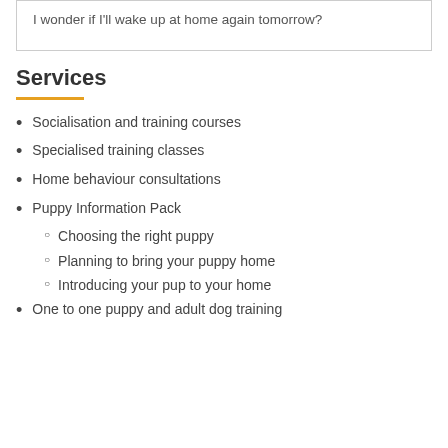I wonder if I'll wake up at home again tomorrow?
Services
Socialisation and training courses
Specialised training classes
Home behaviour consultations
Puppy Information Pack
Choosing the right puppy
Planning to bring your puppy home
Introducing your pup to your home
One to one puppy and adult dog training